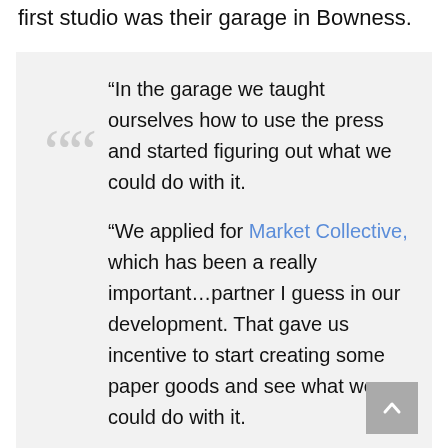first studio was their garage in Bowness.
“In the garage we taught ourselves how to use the press and started figuring out what we could do with it.

“We applied for Market Collective, which has been a really important…partner I guess in our development. That gave us incentive to start creating some paper goods and see what we could do with it.

“We knew the garage was not a